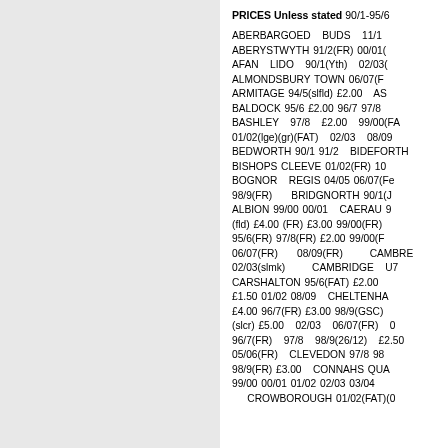PRICES Unless stated 90/1-95/6
ABERBARGOED BUDS 11/1 ABERYSTWYTH 91/2(FR) 00/01( AFAN LIDO 90/1(Yth) 02/03( ALMONDSBURY TOWN 06/07(F ARMITAGE 94/5(slfld) £2.00 AS BALDOCK 95/6 £2.00 96/7 97/8 BASHLEY 97/8 £2.00 99/00(FA 01/02(lge)(gr)(FAT) 02/03 08/09 BEDWORTH 90/1 91/2 BIDEFORTH BISHOPS CLEEVE 01/02(FR) 10 BOGNOR REGIS 04/05 06/07(Fe 98/9(FR) BRIDGNORTH 90/1(J ALBION 99/00 00/01 CAERAU 9 (fld) £4.00 (FR) £3.00 99/00(FR) 95/6(FR) 97/8(FR) £2.00 99/00(F 06/07(FR) 08/09(FR) CAMBRE 02/03(slmk) CAMBRIDGE U7 CARSHALTON 95/6(FAT) £2.00 £1.50 01/02 08/09 CHELTENHA £4.00 96/7(FR) £3.00 98/9(GSC) (slcr) £5.00 02/03 06/07(FR) 0 96/7(FR) 97/8 98/9(26/12) £2.50 05/06(FR) CLEVEDON 97/8 98 98/9(FR) £3.00 CONNAHS QUA 99/00 00/01 01/02 02/03 03/04 CROWBOROUGH 01/02(FAT)(0